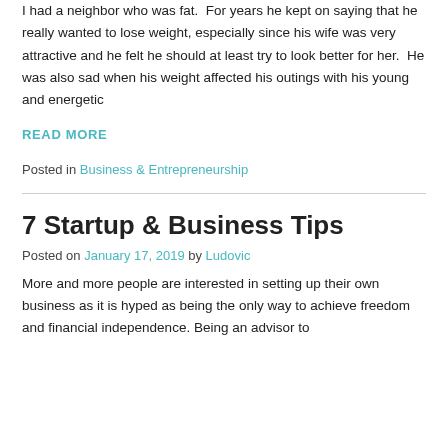I had a neighbor who was fat.  For years he kept on saying that he really wanted to lose weight, especially since his wife was very attractive and he felt he should at least try to look better for her.  He was also sad when his weight affected his outings with his young and energetic
READ MORE
Posted in Business & Entrepreneurship
7 Startup & Business Tips
Posted on January 17, 2019 by Ludovic
More and more people are interested in setting up their own business as it is hyped as being the only way to achieve freedom and financial independence. Being an advisor to